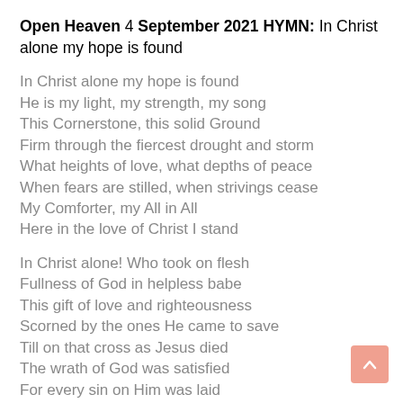Open Heaven 4 September 2021 HYMN: In Christ alone my hope is found
In Christ alone my hope is found
He is my light, my strength, my song
This Cornerstone, this solid Ground
Firm through the fiercest drought and storm
What heights of love, what depths of peace
When fears are stilled, when strivings cease
My Comforter, my All in All
Here in the love of Christ I stand
In Christ alone! Who took on flesh
Fullness of God in helpless babe
This gift of love and righteousness
Scorned by the ones He came to save
Till on that cross as Jesus died
The wrath of God was satisfied
For every sin on Him was laid
Here in the death of Christ I live